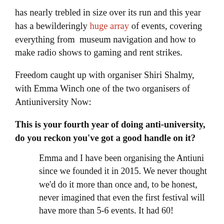has nearly trebled in size over its run and this year has a bewilderingly huge array of events, covering everything from  museum navigation and how to make radio shows to gaming and rent strikes.
Freedom caught up with organiser Shiri Shalmy, with Emma Winch one of the two organisers of Antiuniversity Now:
This is your fourth year of doing anti-university, do you reckon you've got a good handle on it?
Emma and I have been organising the Antiuni since we founded it in 2015. We never thought we'd do it more than once and, to be honest, never imagined that even the first festival will have more than 5-6 events. It had 60!
We developed the systems to coordinate and promote the festival as it grew from 60 to a 150